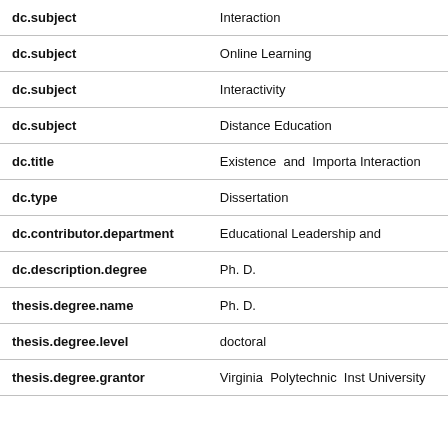| Field | Value |
| --- | --- |
| dc.subject | Interaction |
| dc.subject | Online Learning |
| dc.subject | Interactivity |
| dc.subject | Distance Education |
| dc.title | Existence and Importa Interaction |
| dc.type | Dissertation |
| dc.contributor.department | Educational Leadership and |
| dc.description.degree | Ph. D. |
| thesis.degree.name | Ph. D. |
| thesis.degree.level | doctoral |
| thesis.degree.grantor | Virginia Polytechnic Inst University |